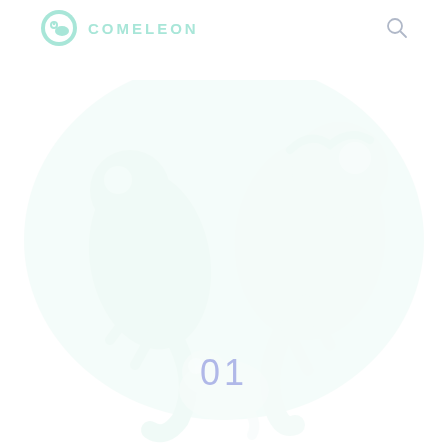COMELEON
[Figure (illustration): Faint watermark-style illustration of chameleon figures in very light mint/green tones, covering the central area of the page. A large decorative '01' number in light periwinkle/lavender color is overlaid near the bottom center of the illustration.]
01